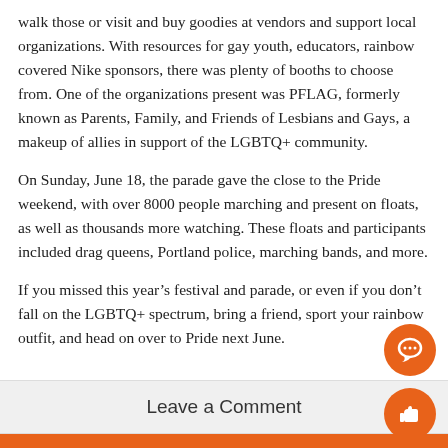walk those or visit and buy goodies at vendors and support local organizations. With resources for gay youth, educators, rainbow covered Nike sponsors, there was plenty of booths to choose from. One of the organizations present was PFLAG, formerly known as Parents, Family, and Friends of Lesbians and Gays, a makeup of allies in support of the LGBTQ+ community.
On Sunday, June 18, the parade gave the close to the Pride weekend, with over 8000 people marching and present on floats, as well as thousands more watching. These floats and participants included drag queens, Portland police, marching bands, and more.
If you missed this year’s festival and parade, or even if you don’t fall on the LGBTQ+ spectrum, bring a friend, sport your rainbow outfit, and head on over to Pride next June.
Leave a Comment